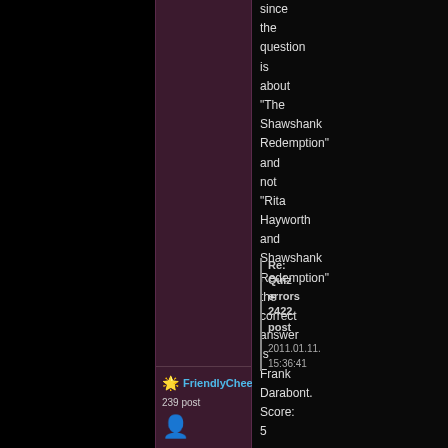since the question is about "The Shawshank Redemption" and not "Rita Hayworth and Shawshank Redemption" the correct answer is Frank Darabont. Score: 5
FriendlyCheese
239 post
Re: Quiz errors 2422. post 2011.01.11. 15:36:41